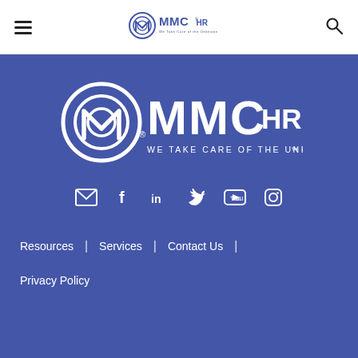[Figure (logo): Hamburger menu icon (three horizontal lines) in the top-left of the header]
[Figure (logo): MMChr logo with tagline 'We Take Care of the Unknown' in the header center]
[Figure (logo): Search icon (magnifying glass) in the top-right of the header]
[Figure (logo): Large white MMChr logo with tagline 'We Take Care of the Unknown' on blue background]
[Figure (infographic): Social media icons row: email, Facebook, LinkedIn, Twitter, YouTube, Instagram — white on blue]
Resources
Services
Contact Us
Privacy Policy